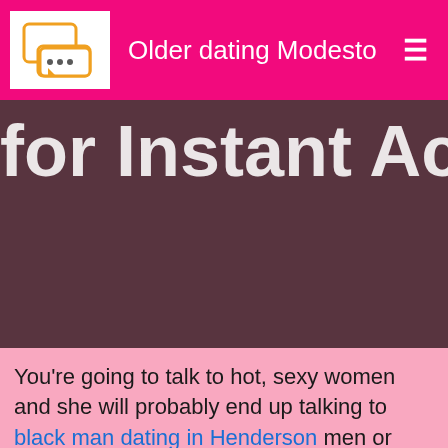Older dating Modesto
[Figure (other): Dark brownish-pink background hero image with large white bold text reading 'for Instant Ac' (partially cropped)]
You're going to talk to hot, sexy women and she will probably end up talking to black man dating in Henderson men or woman as well. She could be nervous, and you probably are too. About SUANNE : "Not lookign to go